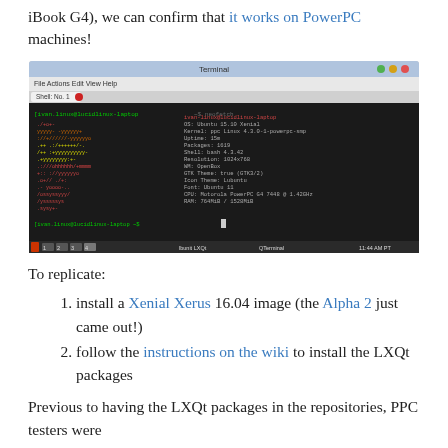iBook G4), we can confirm that it works on PowerPC machines!
[Figure (screenshot): Terminal window screenshot showing neofetch/system info output on a PowerPC Linux machine, with a taskbar at the bottom showing workspaces and time 11:44 AM PT]
To replicate:
install a Xenial Xerus 16.04 image (the Alpha 2 just came out!)
follow the instructions on the wiki to install the LXQt packages
Previous to having the LXQt packages in the repositories, PPC testers were